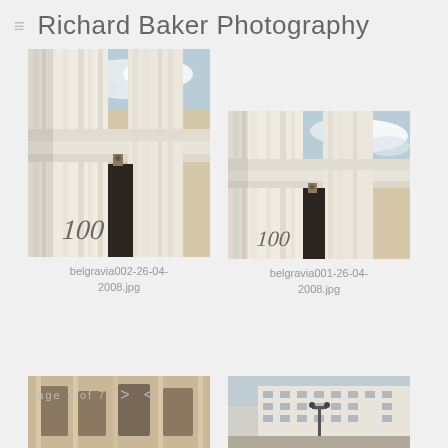Richard Baker Photography
[Figure (photo): Looking up at classical white architectural columns with number 100 visible, beige stone building against blue sky, belgravia002-26-04-2008.jpg]
belgravia002-26-04-2008.jpg
[Figure (photo): Looking up at classical white architectural columns with number 100 visible, beige stone building against blue sky, belgravia001-26-04-2008.jpg]
belgravia001-26-04-2008.jpg
[Figure (photo): Street level view of classical European architecture, belgravia area]
[Figure (photo): Wide view of large white classical building with street lamp in foreground, Belgravia London]
Page 1 of 7